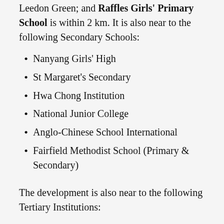Leedon Green; and Raffles Girls' Primary School is within 2 km. It is also near to the following Secondary Schools:
Nanyang Girls' High
St Margaret's Secondary
Hwa Chong Institution
National Junior College
Anglo-Chinese School International
Fairfield Methodist School (Primary & Secondary)
The development is also near to the following Tertiary Institutions:
National University of Singapore (Bt Timah